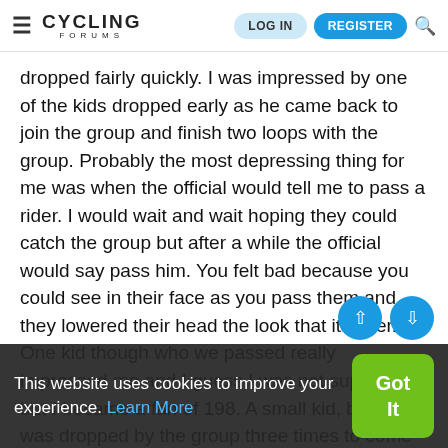CYCLING FORUMS — LOG IN | REGISTER
dropped fairly quickly. I was impressed by one of the kids dropped early as he came back to join the group and finish two loops with the group. Probably the most depressing thing for me was when the official would tell me to pass a rider. I would wait and wait hoping they could catch the group but after a while the official would say pass him. You felt bad because you could see in their face as you pass them and they lowered their head the look that its over. One kid though who we passed really impressed me and I guess I was not suppose to but I became a fan of 198. A small kid, but he was dropped by the group three times to come back each and every time to catch the group and finish. Including one point riding on the grass to pass a few riders. Real guts and grit IMHO.
This website uses cookies to improve your experience. Learn More